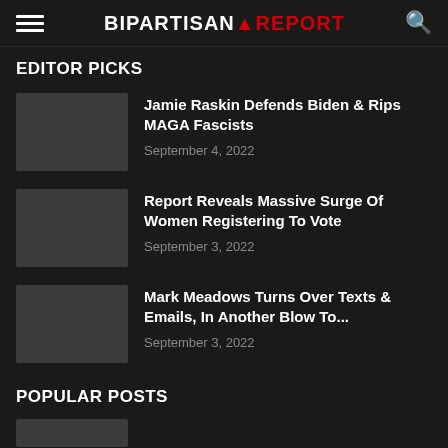BIPARTISAN REPORT
EDITOR PICKS
Jamie Raskin Defends Biden & Rips MAGA Fascists
September 4, 2022
Report Reveals Massive Surge Of Women Registering To Vote
September 3, 2022
Mark Meadows Turns Over Texts & Emails, In Another Blow To...
September 3, 2022
POPULAR POSTS